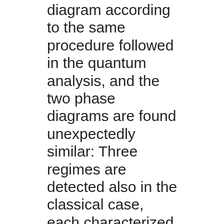diagram according to the same procedure followed in the quantum analysis, and the two phase diagrams are found unexpectedly similar: Three regimes are detected also in the classical case, each characterized by a functional dependence of the correlation length on temperature and field analogous to that of the quantum model. What...